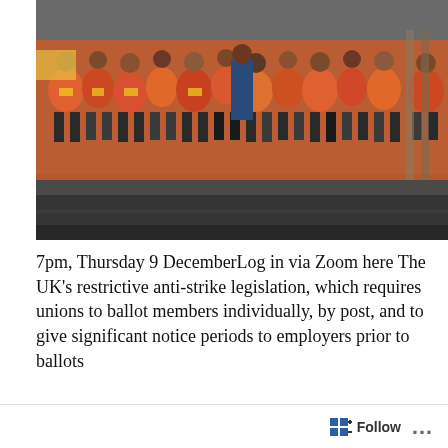[Figure (photo): Crowd of postal workers in orange/red high-visibility vests and jackets standing on a street, apparently gathered for a strike or industrial action.]
7pm, Thursday 9 DecemberLog in via Zoom here The UK's restrictive anti-strike legislation, which requires unions to ballot members individually, by post, and to give significant notice periods to employers prior to ballots and ndorse any action, is consciously designed to render strikes less impactful. Workers in the postal se
Privacy & Cookies: This site uses cookies. By continuing to use this website, you agree to their use.
To find out more, including how to control cookies, see here:
Cookie Policy
Continue reading →
Close and accept
Follow